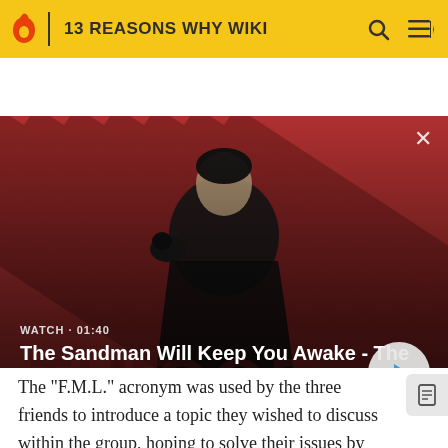13 REASONS WHY WIKI
[Figure (screenshot): Video thumbnail showing a dark figure with a raven on shoulder against red diagonal striped background. Text overlay: WATCH · 01:40 and title 'The Sandman Will Keep You Awake - The Loop'. Play button on right.]
The "F.M.L." acronym was used by the three friends to introduce a topic they wished to discuss within the group, hoping to solve their issues by discussing them with their friends. Hannah uses this to talk about Justin's picture of